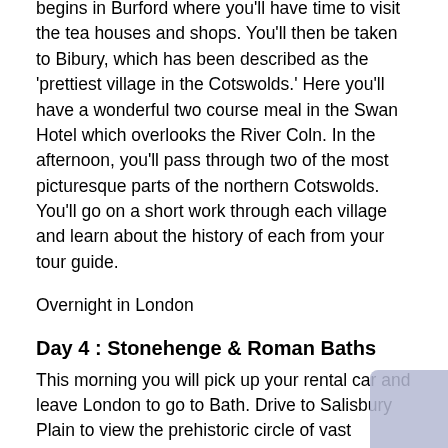begins in Burford where you'll have time to visit the tea houses and shops. You'll then be taken to Bibury, which has been described as the 'prettiest village in the Cotswolds.' Here you'll have a wonderful two course meal in the Swan Hotel which overlooks the River Coln. In the afternoon, you'll pass through two of the most picturesque parts of the northern Cotswolds. You'll go on a short work through each village and learn about the history of each from your tour guide.
Overnight in London
Day 4 : Stonehenge & Roman Baths
This morning you will pick up your rental car and leave London to go to Bath. Drive to Salisbury Plain to view the prehistoric circle of vast monoliths at Stonehenge. One of the most famous sites in the world, Stonehenge is the remains of a ring of standing stones set within earthworks.